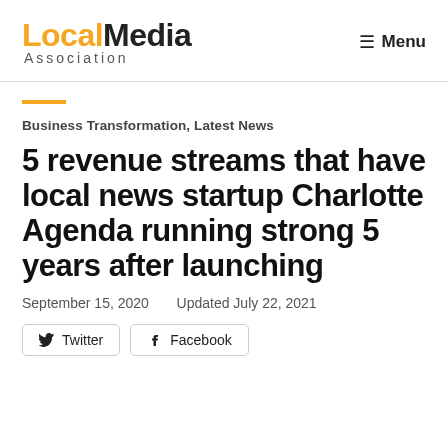Local Media Association  Menu
Business Transformation, Latest News
5 revenue streams that have local news startup Charlotte Agenda running strong 5 years after launching
September 15, 2020   Updated July 22, 2021
Twitter   Facebook